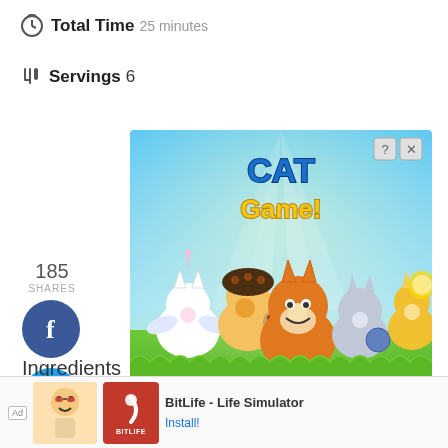Total Time 25 minutes
Servings 6
185 SHARES
[Figure (illustration): Cat Game advertisement with cartoon cats and PLAY NOW button]
Ingredients
Basil Dressing
[Figure (other): BitLife - Life Simulator ad banner at bottom]